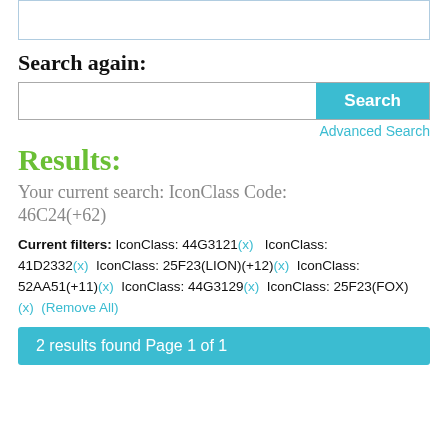[Figure (screenshot): Top box/panel element from previous search UI section]
Search again:
[Figure (screenshot): Search input bar with Search button]
Advanced Search
Results:
Your current search: IconClass Code: 46C24(+62)
Current filters: IconClass: 44G3121(x)   IconClass: 41D2332(x)   IconClass: 25F23(LION)(+12)(x)   IconClass: 52AA51(+11)(x)   IconClass: 44G3129(x)   IconClass: 25F23(FOX)(x)   (Remove All)
2 results found Page 1 of 1